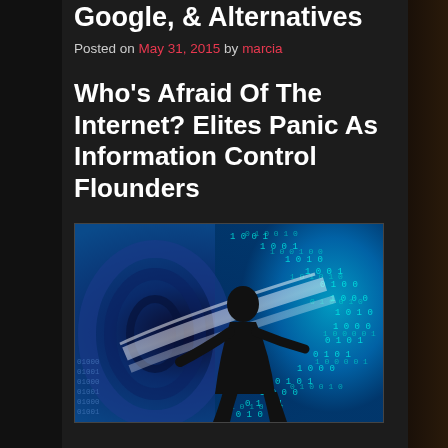Google, & Alternatives
Posted on May 31, 2015 by marcia
Who's Afraid Of The Internet? Elites Panic As Information Control Flounders
[Figure (illustration): Digital illustration of a silhouetted human figure surrounded by a glowing blue binary code tunnel, representing the internet and information flow]